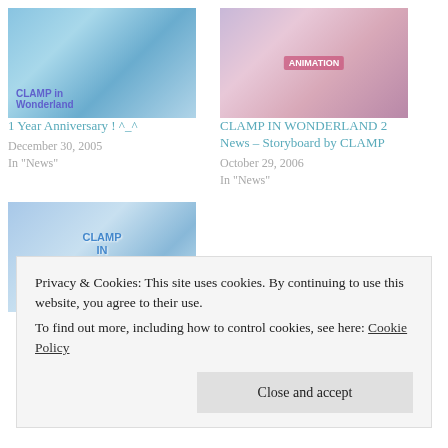[Figure (photo): Thumbnail image for '1 Year Anniversary ! ^_^' blog post, anime-themed blue graphic]
1 Year Anniversary ! ^_^
December 30, 2005
In "News"
[Figure (photo): Thumbnail image for 'CLAMP IN WONDERLAND 2 News – Storyboard by CLAMP' blog post, anime characters]
CLAMP IN WONDERLAND 2 News – Storyboard by CLAMP
October 29, 2006
In "News"
[Figure (photo): Thumbnail image for a third blog post, CLAMP IN WONDERLAND 2 logo with city background]
Privacy & Cookies: This site uses cookies. By continuing to use this website, you agree to their use.
To find out more, including how to control cookies, see here: Cookie Policy
Close and accept